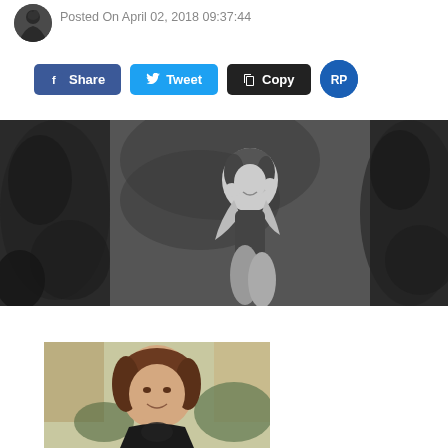[Figure (photo): Small circular avatar/profile image of a leaf or plant silhouette]
Posted On April 02, 2018 09:37:44
Share  Tweet  Copy  RP
[Figure (photo): Black and white photograph of a young woman sitting outdoors among trees and foliage, smiling, with hands near her head]
[Figure (photo): Color photograph of a woman with short brown hair smiling, seated outdoors near wooden structures]